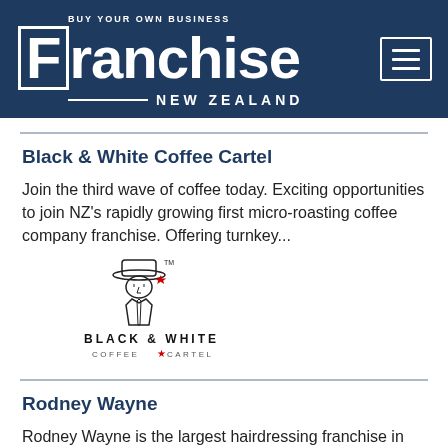BUY YOUR OWN BUSINESS Franchise NEW ZEALAND
Black & White Coffee Cartel
Join the third wave of coffee today. Exciting opportunities to join NZ's rapidly growing first micro-roasting coffee company franchise. Offering turnkey...
[Figure (logo): Black & White Coffee Cartel logo — line drawing of a suited man with hat and the text BLACK & WHITE COFFEE CARTEL with a red star]
Rodney Wayne
Rodney Wayne is the largest hairdressing franchise in